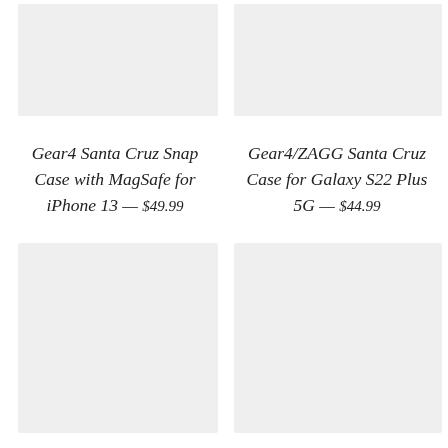[Figure (photo): Product image placeholder for Gear4 Santa Cruz Snap Case with MagSafe for iPhone 13, light gray background]
[Figure (photo): Product image placeholder for Gear4/ZAGG Santa Cruz Case for Galaxy S22 Plus 5G, light gray background]
Gear4 Santa Cruz Snap Case with MagSafe for iPhone 13 — $49.99
Gear4/ZAGG Santa Cruz Case for Galaxy S22 Plus 5G — $44.99
[Figure (photo): Product image placeholder bottom left, light gray background]
[Figure (photo): Product image placeholder bottom right, light gray background]